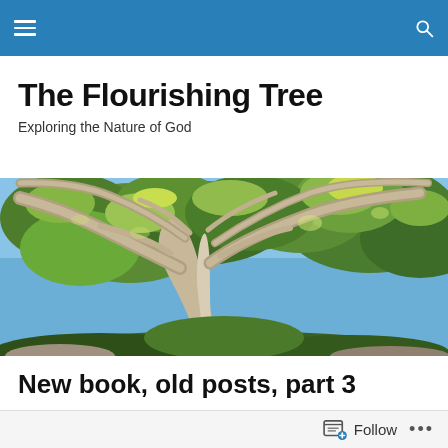Navigation bar with menu and search icons
The Flourishing Tree
Exploring the Nature of God
[Figure (photo): Wide banner photograph of a large tree with spreading branches and green foliage against a blue sky]
New book, old posts, part 3
I hope your Advent season is going well. I know what a
Follow   ...